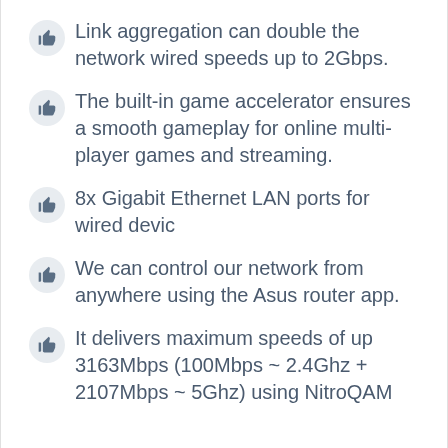Link aggregation can double the network wired speeds up to 2Gbps.
The built-in game accelerator ensures a smooth gameplay for online multi-player games and streaming.
8x Gigabit Ethernet LAN ports for wired devic
We can control our network from anywhere using the Asus router app.
It delivers maximum speeds of up 3163Mbps (100Mbps ~ 2.4Ghz + 2107Mbps ~ 5Ghz) using NitroQAM